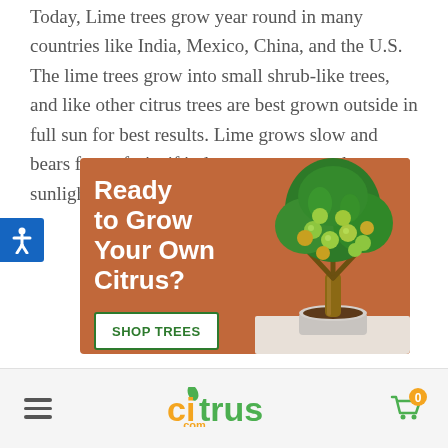Today, Lime trees grow year round in many countries like India, Mexico, China, and the U.S. The lime trees grow into small shrub-like trees, and like other citrus trees are best grown outside in full sun for best results. Lime grows slow and bears fewer fruits if it does not get enough sunlight.
[Figure (illustration): Advertisement banner with terracotta/orange background showing text 'Ready to Grow Your Own Citrus?' with a 'SHOP TREES' button and a photo of a small potted citrus tree bearing green and yellow fruits.]
citrus .com